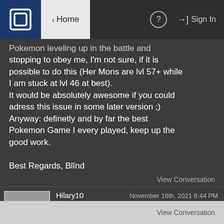Home | ? | Sign In
Pokemon leveling up in the battle and stopping to obey me, I'm not sure, if it is possible to do this (Her Mons are lvl 57+ while I am stuck at lvl 46 at best).
It would be absolutely awesome if you could adress this issue in some later version ;)
Anyway: definetly and by far the best Pokemon Game I every played, keep up the good work.

Best Regards, Blind
View Conversation
Hilary10    November 16th, 2021 8:44 PM
Hey soupercell can I suggest something for your radical red hack?
View Conversation